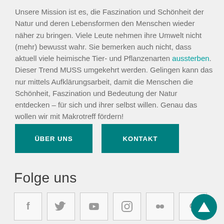Unsere Mission ist es, die Faszination und Schönheit der Natur und deren Lebensformen den Menschen wieder näher zu bringen. Viele Leute nehmen ihre Umwelt nicht (mehr) bewusst wahr. Sie bemerken auch nicht, dass aktuell viele heimische Tier- und Pflanzenarten aussterben. Dieser Trend MUSS umgekehrt werden. Gelingen kann das nur mittels Aufklärungsarbeit, damit die Menschen die Schönheit, Faszination und Bedeutung der Natur entdecken – für sich und ihrer selbst willen. Genau das wollen wir mit Makrotreff fördern!
ÜBER UNS
KONTAKT
Folge uns
[Figure (other): Row of six social media icon buttons (Facebook, Twitter, YouTube, Instagram, Flickr, Pinterest) in square bordered boxes, plus a teal circular scroll-to-top button with a triangle/arrow icon.]